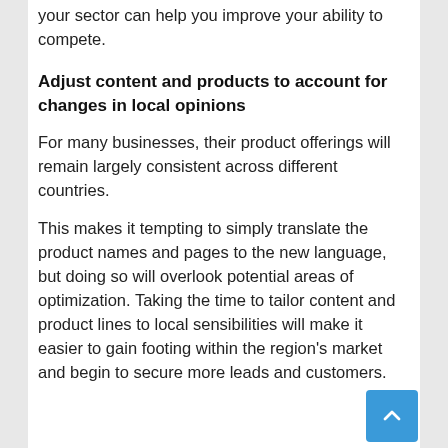your sector can help you improve your ability to compete.
Adjust content and products to account for changes in local opinions
For many businesses, their product offerings will remain largely consistent across different countries.
This makes it tempting to simply translate the product names and pages to the new language, but doing so will overlook potential areas of optimization. Taking the time to tailor content and product lines to local sensibilities will make it easier to gain footing within the region's market and begin to secure more leads and customers.